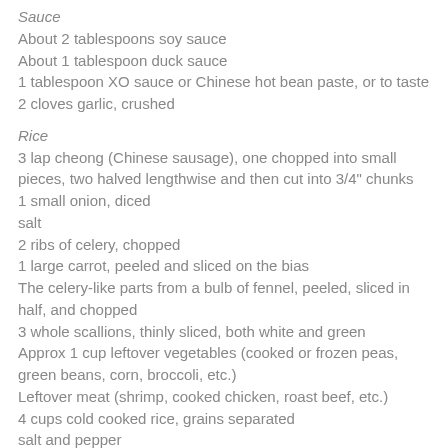Sauce
About 2 tablespoons soy sauce
About 1 tablespoon duck sauce
1 tablespoon XO sauce or Chinese hot bean paste, or to taste
2 cloves garlic, crushed
Rice
3 lap cheong (Chinese sausage), one chopped into small pieces, two halved lengthwise and then cut into 3/4" chunks
1 small onion, diced
salt
2 ribs of celery, chopped
1 large carrot, peeled and sliced on the bias
The celery-like parts from a bulb of fennel, peeled, sliced in half, and chopped
3 whole scallions, thinly sliced, both white and green
Approx 1 cup leftover vegetables (cooked or frozen peas, green beans, corn, broccoli, etc.)
Leftover meat (shrimp, cooked chicken, roast beef, etc.)
4 cups cold cooked rice, grains separated
salt and pepper